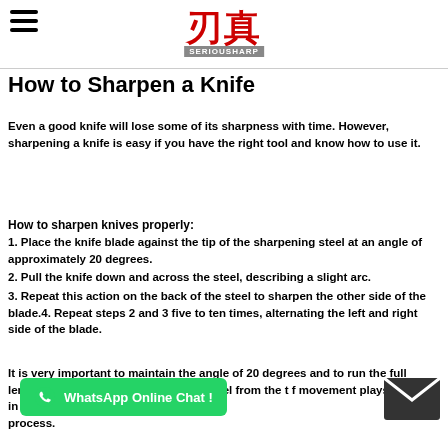刃真 SERIOUSHARP
How to Sharpen a Knife
Even a good knife will lose some of its sharpness with time. However, sharpening a knife is easy if you have the right tool and know how to use it.
How to sharpen knives properly:
1. Place the knife blade against the tip of the sharpening steel at an angle of approximately 20 degrees.
2. Pull the knife down and across the steel, describing a slight arc.
3. Repeat this action on the back of the steel to sharpen the other side of the blade.4. Repeat steps 2 and 3 five to ten times, alternating the left and right side of the blade.
It is very important to maintain the angle of 20 degrees and to run the full length of the cutting edge along the steel from the ... f movement plays no part in the process.